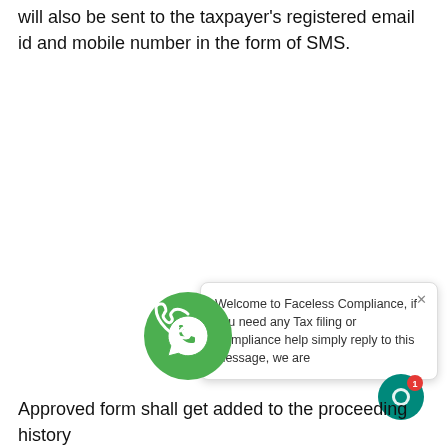will also be sent to the taxpayer's registered email id and mobile number in the form of SMS.
[Figure (screenshot): Chat widget popup showing 'Welcome to Faceless Compliance, if you need any Tax filing or Compliance help simply reply to this message, we are' with a close (x) button.]
[Figure (illustration): Green circle WhatsApp icon button.]
[Figure (illustration): Small teal/green circular chat button with notification badge showing '1'.]
Approved form shall get added to the proceeding history